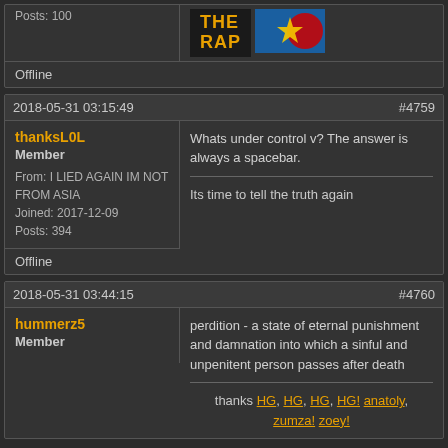Posts: 100
Offline
2018-05-31 03:15:49  #4759
thanksL0L
Member
From: I LIED AGAIN IM NOT FROM ASIA
Joined: 2017-12-09
Posts: 394
Offline
Whats under control v? The answer is always a spacebar.

Its time to tell the truth again
2018-05-31 03:44:15  #4760
hummerz5
Member
perdition - a state of eternal punishment and damnation into which a sinful and unpenitent person passes after death

thanks HG, HG, HG, HG! anatoly, zumza! zoey!